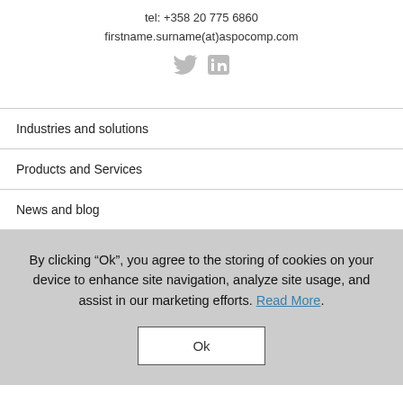tel: +358 20 775 6860
firstname.surname(at)aspocomp.com
[Figure (illustration): Twitter and LinkedIn social media icons in light gray]
Industries and solutions
Products and Services
News and blog
By clicking “Ok”, you agree to the storing of cookies on your device to enhance site navigation, analyze site usage, and assist in our marketing efforts. Read More.
Ok